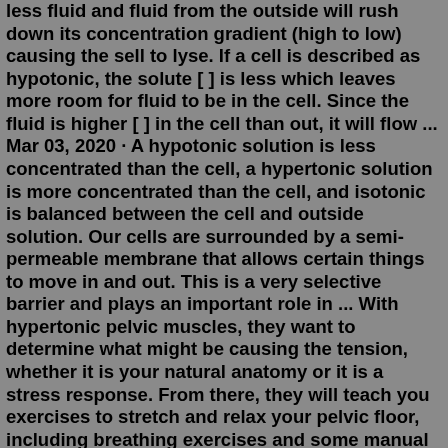less fluid and fluid from the outside will rush down its concentration gradient (high to low) causing the sell to lyse. If a cell is described as hypotonic, the solute [ ] is less which leaves more room for fluid to be in the cell. Since the fluid is higher [ ] in the cell than out, it will flow ... Mar 03, 2020 · A hypotonic solution is less concentrated than the cell, a hypertonic solution is more concentrated than the cell, and isotonic is balanced between the cell and outside solution. Our cells are surrounded by a semi-permeable membrane that allows certain things to move in and out. This is a very selective barrier and plays an important role in ... With hypertonic pelvic muscles, they want to determine what might be causing the tension, whether it is your natural anatomy or it is a stress response. From there, they will teach you exercises to stretch and relax your pelvic floor, including breathing exercises and some manual stretches. For hypotonic pelvic muscles, your therapist may want ...